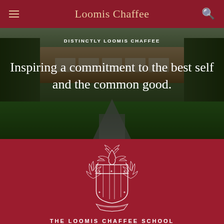Loomis Chaffee
DISTINCTLY LOOMIS CHAFFEE
Inspiring a commitment to the best self and the common good.
[Figure (photo): Campus photo showing brick buildings, tree-lined walkway with a brick path leading to the main building, flanked by green lawns]
[Figure (logo): Loomis Chaffee School crest/coat of arms in white outline on dark red background, featuring a shield with vertical stripes and decorative flourishes, with a banner at the bottom]
THE LOOMIS CHAFFEE SCHOOL